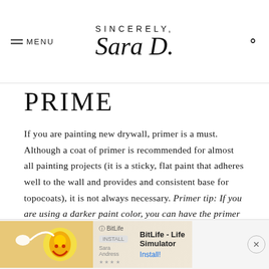SINCERELY, Sara D.
PRIME
If you are painting new drywall, primer is a must. Although a coat of primer is recommended for almost all painting projects (it is a sticky, flat paint that adheres well to the wall and provides and consistent base for topocoats), it is not always necessary. Primer tip: If you are using a darker paint color, you can have the primer tinted to match.
[Figure (other): Advertisement banner for BitLife - Life Simulator app]